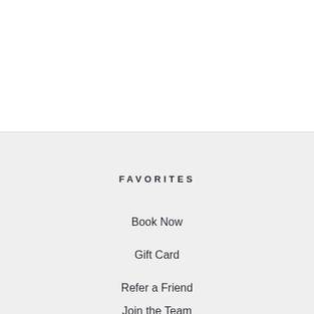FAVORITES
Book Now
Gift Card
Refer a Friend
Join the Team